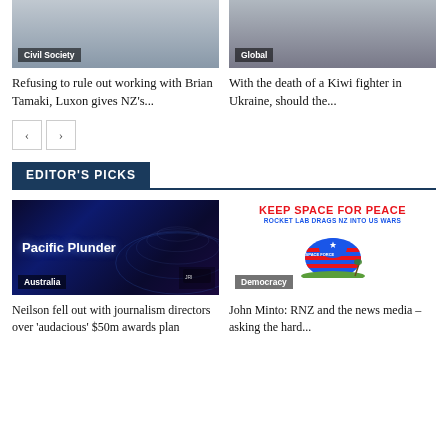[Figure (photo): Photo of people in suits, Civil Society tag]
Refusing to rule out working with Brian Tamaki, Luxon gives NZ's...
[Figure (photo): Photo related to Global / Ukraine story]
With the death of a Kiwi fighter in Ukraine, should the...
EDITOR'S PICKS
[Figure (photo): Pacific Plunder - dark blue wave graphic, Australia tag]
Neilson fell out with journalism directors over 'audacious' $50m awards plan
[Figure (illustration): Keep Space for Peace - Rocket Lab drags NZ into US Wars illustration, Democracy tag]
John Minto: RNZ and the news media – asking the hard...